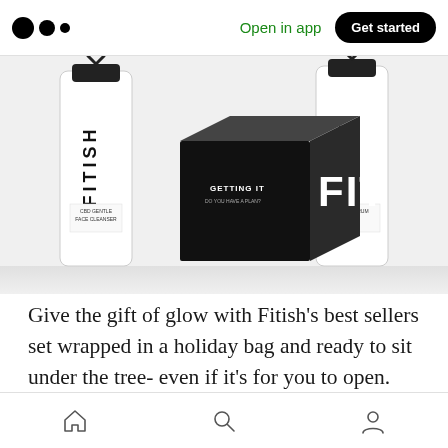Open in app | Get started
[Figure (photo): Fitish skincare product set including white bottles labeled FITISH and a black-and-white box labeled 'GETTING IT' with 'FIT' in large letters, arranged on a white surface.]
Give the gift of glow with Fitish's best sellers set wrapped in a holiday bag and ready to sit under the tree- even if it's for you to open. Glow your way through the holidays with this Gift Set that includes a full-sized CBD Gentle Face Cleanser,
Home | Search | Profile